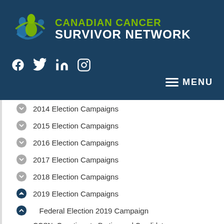[Figure (logo): Canadian Cancer Survivor Network logo with icon of interconnected figures and green/blue text]
[Figure (infographic): Social media icons: Facebook, Twitter, LinkedIn, Instagram in white on dark blue background]
MENU
2014 Election Campaigns
2015 Election Campaigns
2016 Election Campaigns
2017 Election Campaigns
2018 Election Campaigns
2019 Election Campaigns
Federal Election 2019 Campaign
CCSN: Questions to Parties and Candidates
CCSN: Questions to Parties and Candidates (partial)